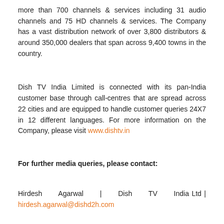more than 700 channels & services including 31 audio channels and 75 HD channels & services. The Company has a vast distribution network of over 3,800 distributors & around 350,000 dealers that span across 9,400 towns in the country.
Dish TV India Limited is connected with its pan-India customer base through call-centres that are spread across 22 cities and are equipped to handle customer queries 24X7 in 12 different languages. For more information on the Company, please visit www.dishtv.in
For further media queries, please contact:
Hirdesh Agarwal | Dish TV India Ltd | hirdesh.agarwal@dishd2h.com